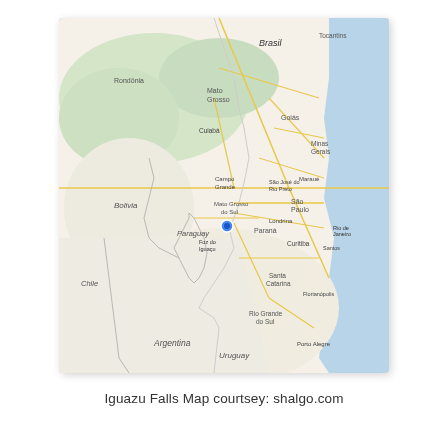[Figure (map): Google Maps style map showing South America, centered on the border region of Brazil, Paraguay, and Argentina where Iguazu Falls is located. A blue location pin marks the Iguazu Falls area (Foz do Iguaçu). Visible country/region labels include: Brasil, Rondônia, Mato Grosso, Goiás, Minas Gerais, São Paulo, Paraná, Santa Catarina, Rio Grande do Sul, Mato Grosso do Sul, Bolivia, Paraguay, Uruguay, Argentina, Chile. Roads shown in yellow on beige/tan land with green forested areas in the northwest and blue ocean on the right/east side.]
Iguazu Falls Map courtsey: shalgo.com